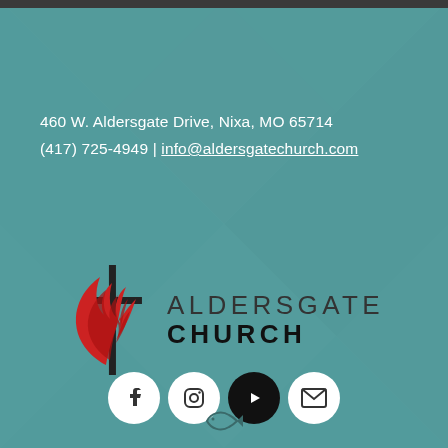460 W. Aldersgate Drive, Nixa, MO 65714
(417) 725-4949 | info@aldersgatechurch.com
[Figure (logo): Aldersgate Church logo with United Methodist flame/cross symbol in red and black on the left, and text 'ALDERSGATE CHURCH' on the right in dark gray/black sans-serif letters]
[Figure (infographic): Row of four social media icon circles: Facebook (white circle with f), Instagram (white circle with camera icon), YouTube (black circle with play button), Email (white circle with envelope icon)]
[Figure (illustration): Small ichthys fish symbol in teal/dark color at the bottom center of the page]